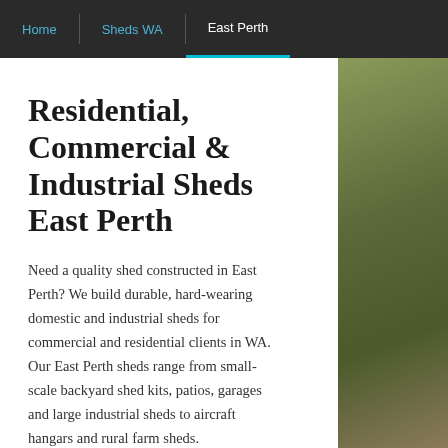Home | Sheds WA | East Perth
Residential, Commercial & Industrial Sheds East Perth
Need a quality shed constructed in East Perth? We build durable, hard-wearing domestic and industrial sheds for commercial and residential clients in WA. Our East Perth sheds range from small-scale backyard shed kits, patios, garages and large industrial sheds to aircraft hangars and rural farm sheds.
Why Choose Action Sheds?